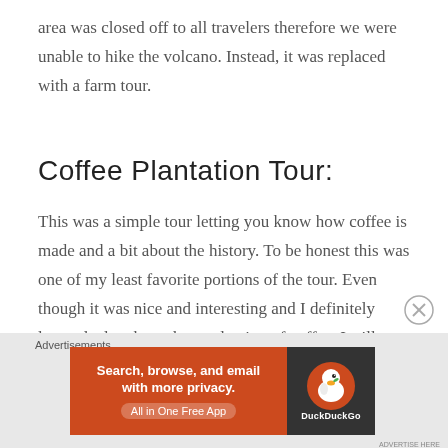area was closed off to all travelers therefore we were unable to hike the volcano. Instead, it was replaced with a farm tour.
Coffee Plantation Tour:
This was a simple tour letting you know how coffee is made and a bit about the history. To be honest this was one of my least favorite portions of the tour. Even though it was nice and interesting and I definitely learned a lot about the production of coffee, I still found myself daydreaming a little.
[Figure (other): DuckDuckGo advertisement banner: orange background with text 'Search, browse, and email with more privacy. All in One Free App' and DuckDuckGo logo on dark background]
Advertisements